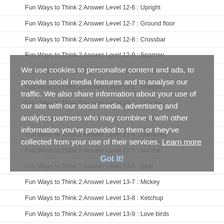Fun Ways to Think 2 Answer Level 12-6 : Upright
Fun Ways to Think 2 Answer Level 12-7 : Ground floor
Fun Ways to Think 2 Answer Level 12-8 : Crossbar
Fun Ways to Think 2 Answer Level 12-9 : Sparrow
Fun Ways to Think 2 Answer Level 12-10 : Newspaper
Fun Ways to Think 2 Answer Level 13-1 : Tealight
Fun Ways to Think 2 Answer Level 13-2 : Lobster
Fun Ways to Think 2 Answer Level 13-3 : Mangomix
Fun Ways to Think 2 Answer Level 13-4 : Gameboy
Fun Ways to Think 2 Answer Level 13-5 : No one
Fun Ways to Think 2 Answer Level 13-6 : Beat
Fun Ways to Think 2 Answer Level 13-7 : Mickey
Fun Ways to Think 2 Answer Level 13-8 : Ketchup
Fun Ways to Think 2 Answer Level 13-9 : Love birds
Fun Ways to Think 2 Answer Level 13-10 : Housewife
Fun Ways to Think 2 Answer Level 14-1 : Beaten
Fun Ways to Think 2 Answer Level 14-2 : Backup
We use cookies to personalise content and ads, to provide social media features and to analyse our traffic. We also share information about your use of our site with our social media, advertising and analytics partners who may combine it with other information you've provided to them or they've collected from your use of their services. Learn more